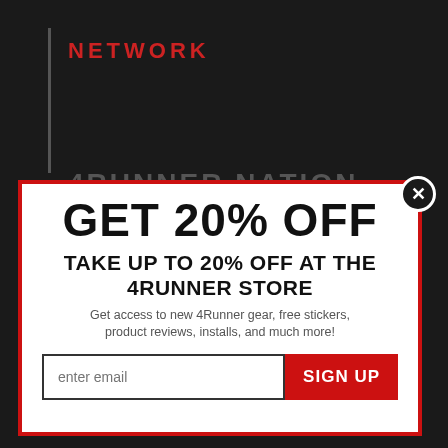NETWORK
4RUNNER NATION
GET 20% OFF
TAKE UP TO 20% OFF AT THE 4RUNNER STORE
Get access to new 4Runner gear, free stickers, product reviews, installs, and much more!
enter email | SIGN UP